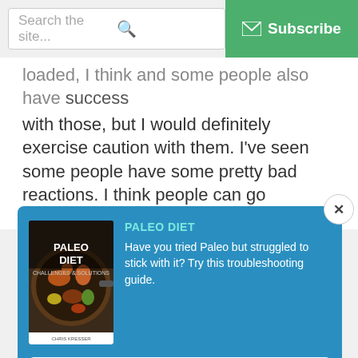Search the site...  Subscribe
...loaded, I think and some people also have success with those, but I would definitely exercise caution with them. I've seen some people have some pretty bad reactions. I think people can go overboard and get ki...
[Figure (screenshot): Popup modal with book cover for 'Paleo Diet Challenges & Solutions' by Chris Kresser, with title 'PALEO DIET', description 'Have you tried Paleo but struggled to stick with it? Try this troubleshooting guide.', an email address field, and a 'Download Now' button. Close (X) button in upper right.]